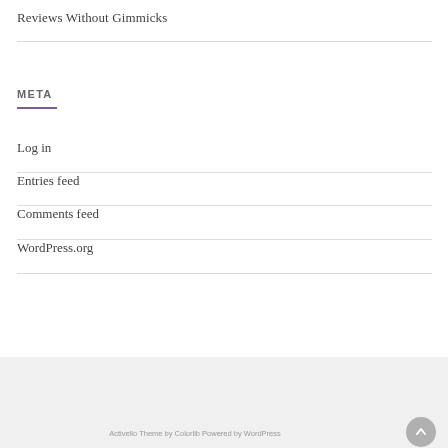Reviews Without Gimmicks
META
Log in
Entries feed
Comments feed
WordPress.org
Activello Theme by Colorlib Powered by WordPress